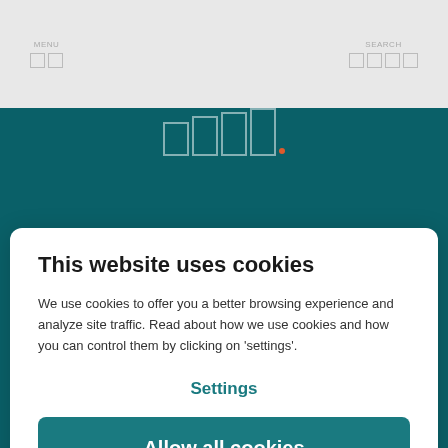This website uses cookies
We use cookies to offer you a better browsing experience and analyze site traffic. Read about how we use cookies and how you can control them by clicking on 'settings'.
Settings
Allow all cookies